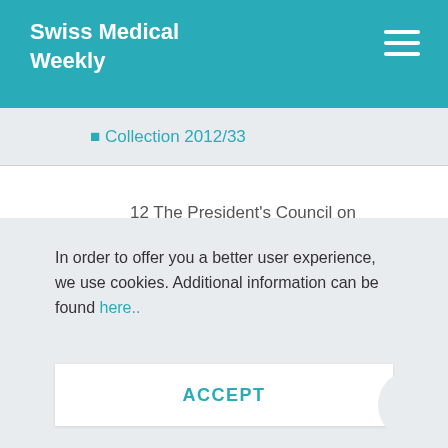Swiss Medical Weekly
Collection 2012/33
12 The President's Council on Bioethics. Controversies in the determination of death. A White Paper of the President's Council on Bioethics. The President's Council on Bioethics: Washington, DC; 2008. Available at: http://bioethics.georgetown.edu/pcbe/rep/...ath
In order to offer you a better user experience, we use cookies. Additional information can be found here..
ACCEPT